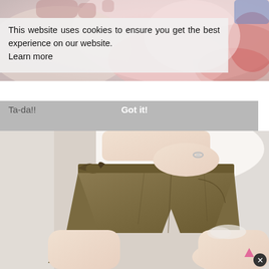[Figure (photo): Top portion of a website screenshot showing a blurred/close-up photo with pinkish and white tones in the background]
This website uses cookies to ensure you get the best experience on our website. Learn more
Ta-da!!
Got it!
[Figure (photo): Person wearing olive/khaki shorts with a bow tie detail at the waist and white lace trim at the hem, along with a white top. A ring is visible on their hand.]